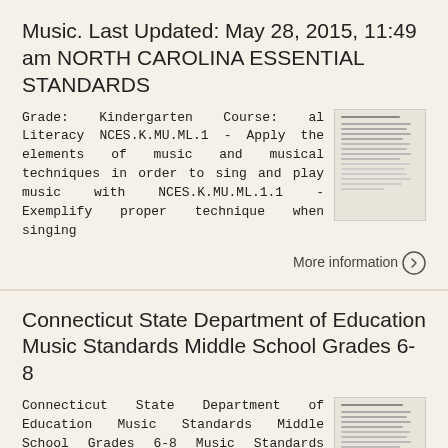Music. Last Updated: May 28, 2015, 11:49 am NORTH CAROLINA ESSENTIAL STANDARDS
Grade: Kindergarten Course: al Literacy NCES.K.MU.ML.1 - Apply the elements of music and musical techniques in order to sing and play music with NCES.K.MU.ML.1.1 - Exemplify proper technique when singing
[Figure (screenshot): Thumbnail preview of the document]
More information →
Connecticut State Department of Education Music Standards Middle School Grades 6-8
Connecticut State Department of Education Music Standards Middle School Grades 6-8 Music Standards Vocal Students will sing, alone and with others, a varied repertoire of songs. Students will sing accurately
[Figure (screenshot): Thumbnail preview of the document]
[Figure (other): Back to top button circle with up arrow]